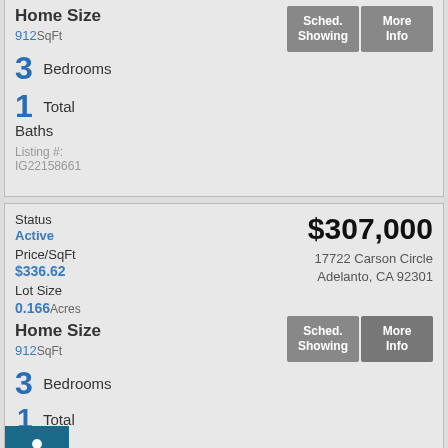Home Size
912SqFt
3 Bedrooms
1 Total Baths
Listing #: IG22158661
Status
Active
Price/SqFt
$336.62
Lot Size
0.166Acres
Home Size
912SqFt
3 Bedrooms
1 Total Baths
Listing #: CV22151859
$307,000
17722 Carson Circle Adelanto, CA 92301